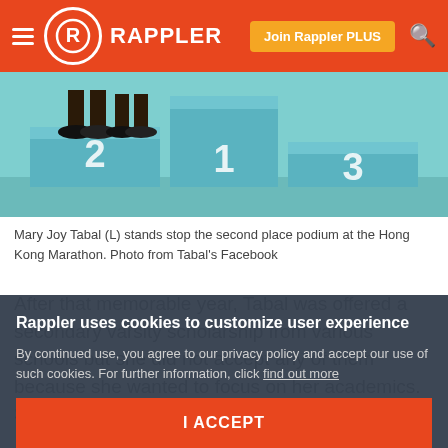RAPPLER — Join Rappler PLUS
[Figure (photo): Photo of podium with numbers 1, 2, 3 and person's feet/legs standing on the second place podium, teal/blue color scheme]
Mary Joy Tabal (L) stands stop the second place podium at the Hong Kong Marathon. Photo from Tabal's Facebook
After that memorable year, Tabal was offered a secondary varsity scholarship from various schools but she did not accept any of them because she wanted to focus on her academics. She had no involvement in sports during her
Rappler uses cookies to customize user experience
By continued use, you agree to our privacy policy and accept our use of such cookies. For further information, click find out more
I ACCEPT